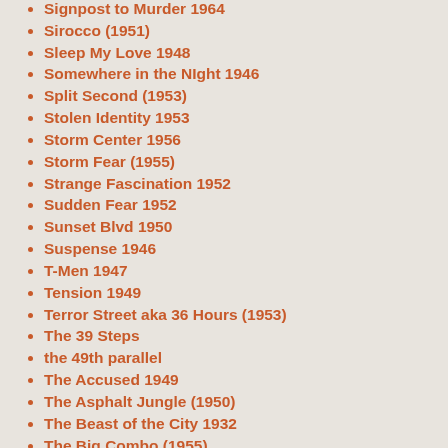Signpost to Murder 1964
Sirocco (1951)
Sleep My Love 1948
Somewhere in the NIght 1946
Split Second (1953)
Stolen Identity 1953
Storm Center 1956
Storm Fear (1955)
Strange Fascination 1952
Sudden Fear 1952
Sunset Blvd 1950
Suspense 1946
T-Men 1947
Tension 1949
Terror Street aka 36 Hours (1953)
The 39 Steps
the 49th parallel
The Accused 1949
The Asphalt Jungle (1950)
The Beast of the City 1932
The Big Combo (1955)
The Big Heat 1953
The Big Knife (1955)
The Big Steal 1949
The Blackboard Jungle 1955